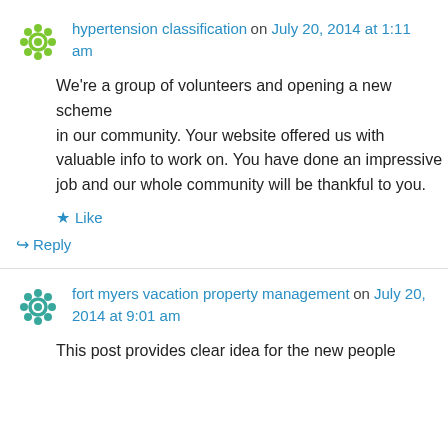hypertension classification on July 20, 2014 at 1:11 am
We're a group of volunteers and opening a new scheme in our community. Your website offered us with valuable info to work on. You have done an impressive job and our whole community will be thankful to you.
Like
↪ Reply
fort myers vacation property management on July 20, 2014 at 9:01 am
This post provides clear idea for the new people